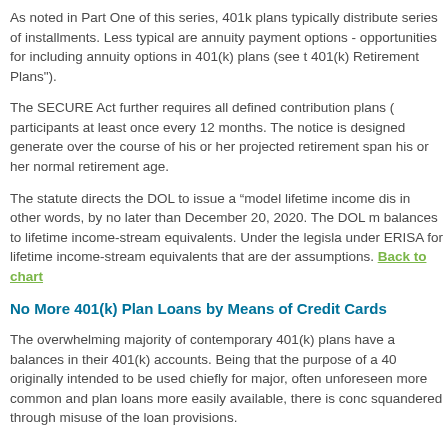As noted in Part One of this series, 401k plans typically distribute series of installments. Less typical are annuity payment options - opportunities for including annuity options in 401(k) plans (see 401(k) Retirement Plans").
The SECURE Act further requires all defined contribution plans ( participants at least once every 12 months. The notice is designed generate over the course of his or her projected retirement span his or her normal retirement age.
The statute directs the DOL to issue a “model lifetime income di in other words, by no later than December 20, 2020. The DOL m balances to lifetime income-stream equivalents. Under the legisla under ERISA for lifetime income-stream equivalents that are der assumptions. Back to chart
No More 401(k) Plan Loans by Means of Credit Cards
The overwhelming majority of contemporary 401(k) plans have a balances in their 401(k) accounts. Being that the purpose of a 40 originally intended to be used chiefly for major, often unforeseen more common and plan loans more easily available, there is conc squandered through misuse of the loan provisions.